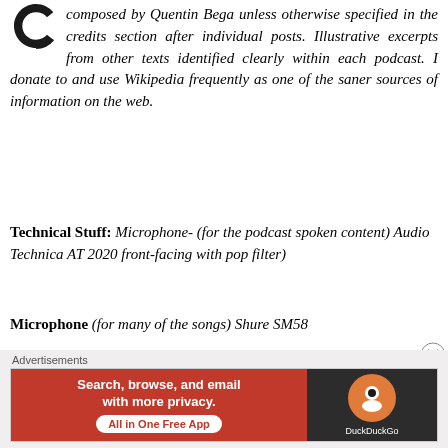composed by Quentin Bega unless otherwise specified in the credits section after individual posts. Illustrative excerpts from other texts identified clearly within each podcast. I donate to and use Wikipedia frequently as one of the saner sources of information on the web.
Technical Stuff: Microphone- (for the podcast spoken content) Audio Technica AT 2020 front-facing with pop filter)
Microphone (for many of the songs) Shure SM58
For recording and mixing down 64-bit N-Track Studio 9
Advertisements
[Figure (other): DuckDuckGo advertisement banner: orange/red left side with text 'Search, browse, and email with more privacy. All in One Free App' and dark right side with DuckDuckGo logo]